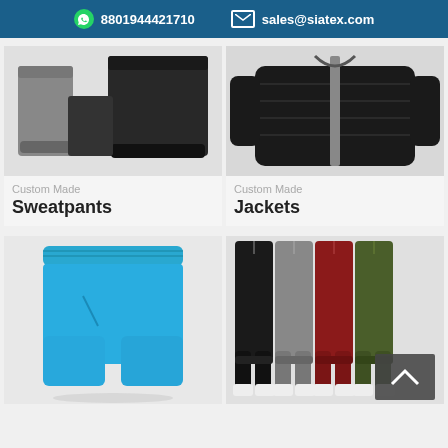8801944421710  sales@siatex.com
[Figure (photo): Grey and black sweatpants folded/stacked on white background]
[Figure (photo): Black quilted zip-up jacket on white background]
Custom Made
Custom Made
Sweatpants
Jackets
[Figure (photo): Blue athletic shorts on white background]
[Figure (photo): Four pairs of jogger sweatpants in black, grey, red and olive colors on white background]